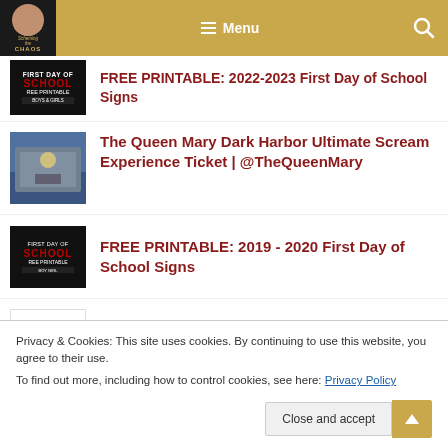Menu
FREE PRINTABLE: 2022-2023 First Day of School Signs
The Queen Mary Dark Harbor Ultimate Scream Experience Ticket | @TheQueenMary
FREE PRINTABLE: 2019 - 2020 First Day of School Signs
FREE PRINTABLE: 2018 2019 BACK TO SCHOOL SIGNS
Privacy & Cookies: This site uses cookies. By continuing to use this website, you agree to their use.
To find out more, including how to control cookies, see here: Privacy Policy